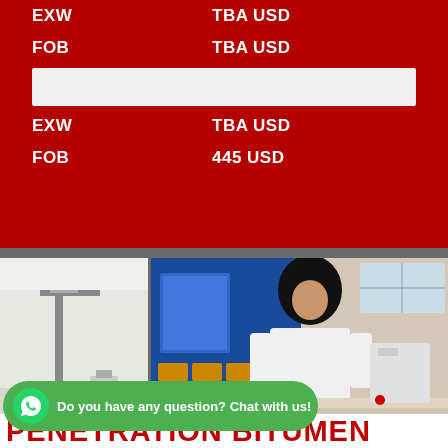|  |  |
| --- | --- |
| EXW | TBA USD |
| FOB | TBA USD |
| EXW | TBA USD |
| FOB | 445 USD |
[Figure (photo): Laboratory equipment on left: penetration testing machine on white bench. Right: scientist in white coat and hijab working at lab bench with blue fume hood equipment.]
[Figure (infographic): Green WhatsApp button with icon and text: Do you have any question? Chat with us!]
PENETRATION BITUMEN